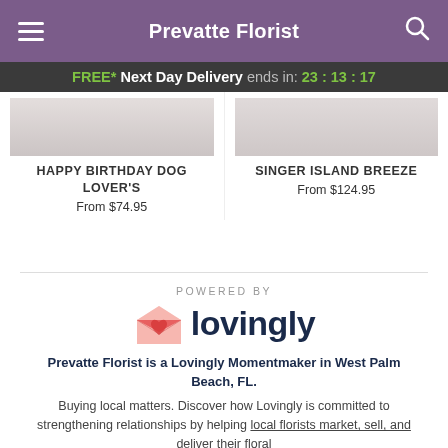Prevatte Florist
FREE* Next Day Delivery ends in: 23:13:17
HAPPY BIRTHDAY DOG LOVER'S
From $74.95
SINGER ISLAND BREEZE
From $124.95
POWERED BY
[Figure (logo): Lovingly logo with a pink/red heart-shaped envelope icon and the word 'lovingly' in dark navy bold text]
Prevatte Florist is a Lovingly Momentmaker in West Palm Beach, FL.
Buying local matters. Discover how Lovingly is committed to strengthening relationships by helping local florists market, sell, and deliver their floral arrangements.